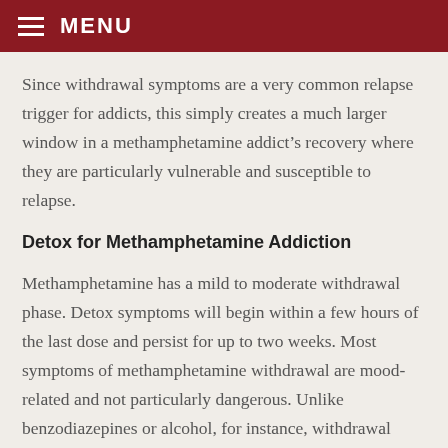MENU
Since withdrawal symptoms are a very common relapse trigger for addicts, this simply creates a much larger window in a methamphetamine addict’s recovery where they are particularly vulnerable and susceptible to relapse.
Detox for Methamphetamine Addiction
Methamphetamine has a mild to moderate withdrawal phase. Detox symptoms will begin within a few hours of the last dose and persist for up to two weeks. Most symptoms of methamphetamine withdrawal are mood-related and not particularly dangerous. Unlike benzodiazepines or alcohol, for instance, withdrawal from meth is very rarely, if ever, fatal.